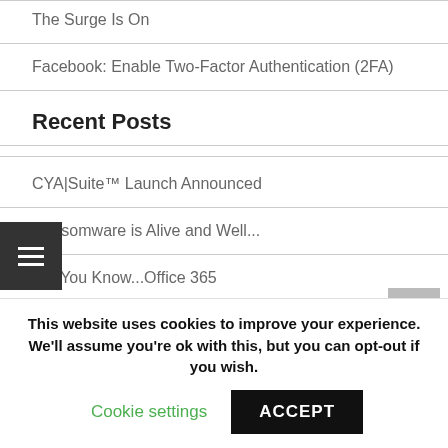The Surge Is On
Facebook: Enable Two-Factor Authentication (2FA)
Recent Posts
CYA|Suite™ Launch Announced
Ransomware is Alive and Well...
Did You Know...Office 365
The Surge Is On
Facebook: Enable Two-Factor Authentication (2FA)
This website uses cookies to improve your experience. We'll assume you're ok with this, but you can opt-out if you wish.
Cookie settings  ACCEPT